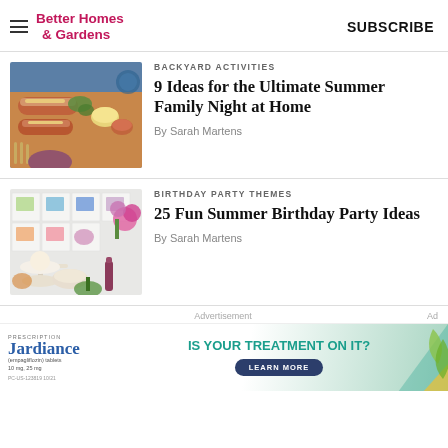Better Homes & Gardens | SUBSCRIBE
[Figure (photo): Food photo showing hot dogs and other summer food items on a table]
BACKYARD ACTIVITIES
9 Ideas for the Ultimate Summer Family Night at Home
By Sarah Martens
[Figure (photo): Birthday party table with colorful watercolor painted cards and flowers]
BIRTHDAY PARTY THEMES
25 Fun Summer Birthday Party Ideas
By Sarah Martens
Advertisement
[Figure (other): Advertisement banner for Jardiance (empagliflozin) tablets — IS YOUR TREATMENT ON IT? LEARN MORE. PC-US-123819 10/21]